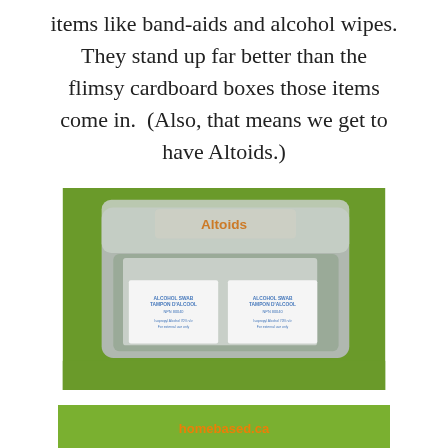items like band-aids and alcohol wipes. They stand up far better than the flimsy cardboard boxes those items come in.  (Also, that means we get to have Altoids.)
[Figure (photo): An open Altoids tin sitting on a green surface, containing alcohol swab packets labeled 'ALCOHOL SWAB / TAMPON D'ALCOOL']
[Figure (photo): Partial view of a green surface with an orange logo/text visible, bottom of page]